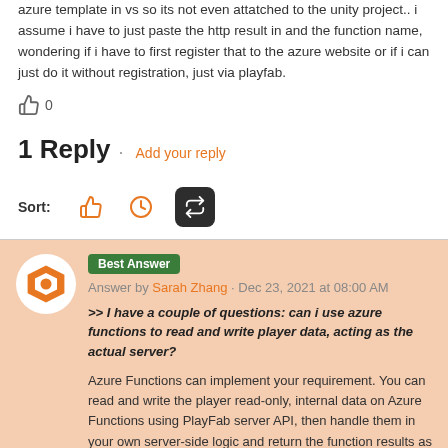azure template in vs so its not even attatched to the unity project.. i assume i have to just paste the http result in and the function name, wondering if i have to first register that to the azure website or if i can just do it without registration, just via playfab.
👍 0
1 Reply · Add your reply
Sort:
Best Answer
Answer by Sarah Zhang · Dec 23, 2021 at 08:00 AM
>> I have a couple of questions: can i use azure functions to read and write player data, acting as the actual server?
Azure Functions can implement your requirement. You can read and write the player read-only, internal data on Azure Functions using PlayFab server API, then handle them in your own server-side logic and return the function results as responses.
But you may need to note, Azure Functions is a serverless function that can be used to handle the light-level server-side